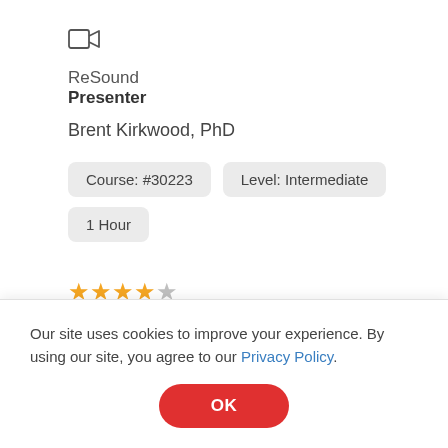[Figure (illustration): Video camera icon (outline rectangle with triangle play marker)]
ReSound
Presenter
Brent Kirkwood, PhD
Course: #30223
Level: Intermediate
1 Hour
★★★★☆  'Good explanation of new, important technology'  Read Reviews
View CEUs/Hours Offered
ReSound's newest products will be described in
Our site uses cookies to improve your experience. By using our site, you agree to our Privacy Policy.
OK